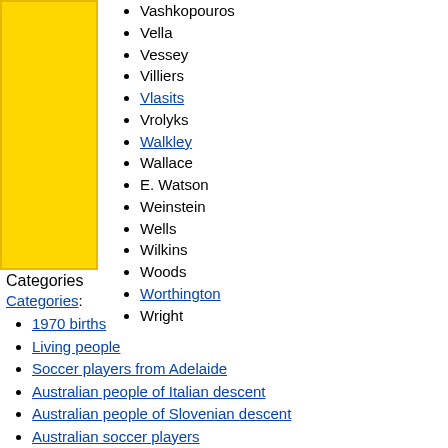[Figure (other): Yellow rectangular bar on the left side of the page]
Vashkopouros
Vella
Vessey
Villiers
Vlasits
Vrolyks
Walkley
Wallace
E. Watson
Weinstein
Wells
Wilkins
Woods
Worthington
Wright
Categories
Categories:
1970 births
Living people
Soccer players from Adelaide
Australian people of Italian descent
Australian people of Slovenian descent
Australian soccer players
Australian expatriate soccer players